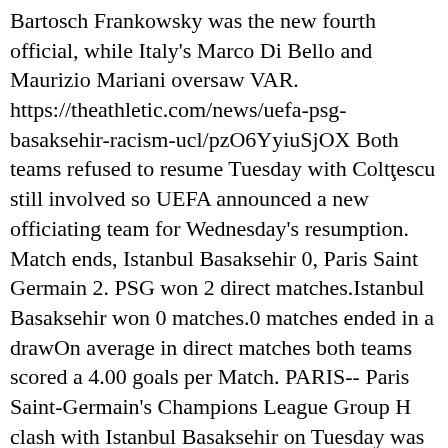Bartosch Frankowsky was the new fourth official, while Italy's Marco Di Bello and Maurizio Mariani oversaw VAR. https://theathletic.com/news/uefa-psg-basaksehir-racism-ucl/pzO6YyiuSjOX Both teams refused to resume Tuesday with Coltescu still involved so UEFA announced a new officiating team for Wednesday's resumption. Match ends, Istanbul Basaksehir 0, Paris Saint Germain 2. PSG won 2 direct matches.Istanbul Basaksehir won 0 matches.0 matches ended in a drawOn average in direct matches both teams scored a 4.00 goals per Match. PARIS-- Paris Saint-Germain's Champions League Group H clash with Istanbul Basaksehir on Tuesday was put on hold and won't be resumed until Wednesday after … The Romanian fourth official accused of racism during Paris St Germain's Champions League clash with Istanbul Basaksehir has been banned … Eklat bei der Champions-League-Partie Paris St. Germain gegen Istanbul Basaksehir. Players and coaching staff wore t-shirts with the message 'NO TO RACISM.'. ", PSG added: "All forms of racism go against the values held by Paris Saint-Germain, the club's Chairman, staff and players.". Click here to reveal the score. Venue: Parc des Princes. Paris Saint-Germain vs İstanbul Başakşehir made